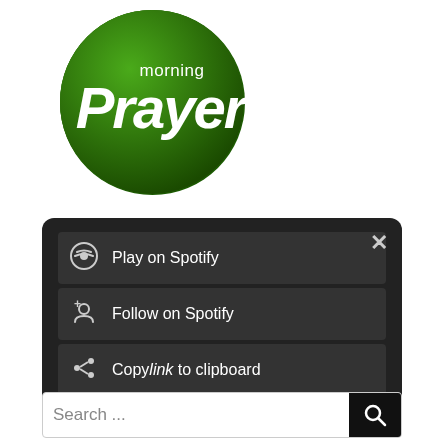[Figure (logo): Morning Prayer logo — dark green circle with white italic text 'Prayer' and smaller text 'morning' above]
[Figure (screenshot): Dark popup menu with options: Play on Spotify, Follow on Spotify, Copy link to clipboard, and Privacy Policy · Terms & Conditions footer, with X close button]
[Figure (screenshot): Search bar with placeholder text 'Search ...' and black search button with magnifying glass icon]